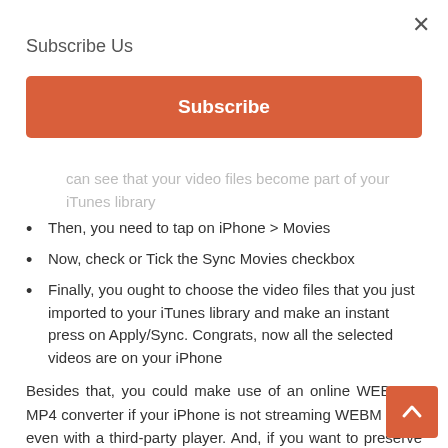Subscribe Us
Subscribe
can see that your video files become part of your iTunes library
Then, you need to tap on iPhone > Movies
Now, check or Tick the Sync Movies checkbox
Finally, you ought to choose the video files that you just imported to your iTunes library and make an instant press on Apply/Sync. Congrats, now all the selected videos are on your iPhone
Besides that, you could make use of an online WEBM to MP4 converter if your iPhone is not streaming WEBM video even with a third-party player. And, if you want to preserve video quality while converting WEBM into MP4, then seek for free and best WEBM to MP4 converter that works with lossless quality.